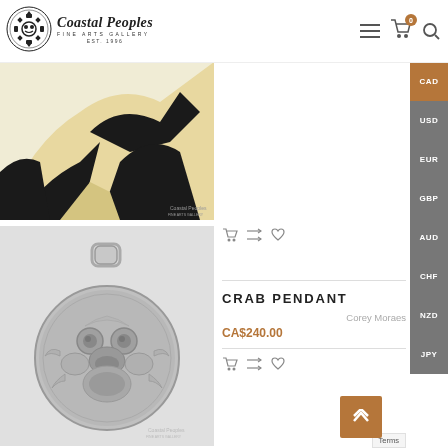[Figure (logo): Coastal Peoples Fine Arts Gallery logo with decorative circular emblem, EST. 1996]
[Figure (photo): Top product photo: beige/tan background with black and white Indigenous art print pattern]
[Figure (photo): Crab Pendant product photo: silver circular pendant with Indigenous crab design on gray background]
CRAB PENDANT
Corey Moraes
CA$240.00
CAD USD EUR GBP AUD CHF NZD JPY